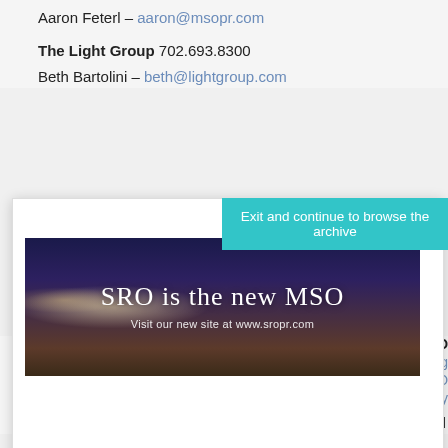Aaron Feterl – aaron@msopr.com
The Light Group 702.693.8300
Beth Bartolini – beth@lightgroup.com
Exit and continue to browse the archive
[Figure (photo): SRO is the new MSO banner image with night sky background. Text reads: SRO is the new MSO / Visit our new site at www.sropr.com]
destination under the sun or stars of Las Vegas. DAYLIGHT adde pool to service the north side cabanas and a 245-square-foot pool
For more information on D
daylightveg
facebook.com/D
twitter.com/Day